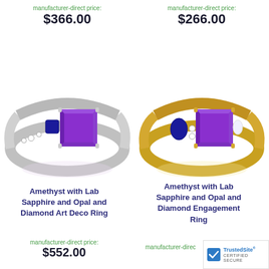manufacturer-direct price:
$366.00
manufacturer-direct price:
$266.00
[Figure (photo): Silver engagement ring with large princess-cut amethyst center stone, blue sapphire side stones, and diamond accents on band]
[Figure (photo): Gold engagement ring with large princess-cut amethyst center stone, blue sapphire pear-cut side stone, opal side stone, and diamond accents]
Amethyst with Lab Sapphire and Opal and Diamond Art Deco Ring
Amethyst with Lab Sapphire and Opal and Diamond Engagement Ring
manufacturer-direct price:
$552.00
manufacturer-direct price:
[Figure (logo): TrustedSite Certified Secure badge]